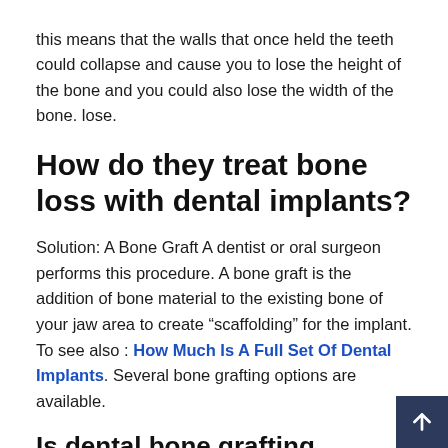this means that the walls that once held the teeth could collapse and cause you to lose the height of the bone and you could also lose the width of the bone. lose.
How do they treat bone loss with dental implants?
Solution: A Bone Graft A dentist or oral surgeon performs this procedure. A bone graft is the addition of bone material to the existing bone of your jaw area to create “scaffolding” for the implant. To see also : How Much Is A Full Set Of Dental Implants. Several bone grafting options are available.
Is dental bone grafting painful?
Is bone grafting a painful procedure? Those who undergo a dental bone graft will experience some discomfort and / or pain after the procedure, which is to be expected. Taking an over-the-counter pain reliever can help minimize any recognition or pain, especially in the first three to four days.